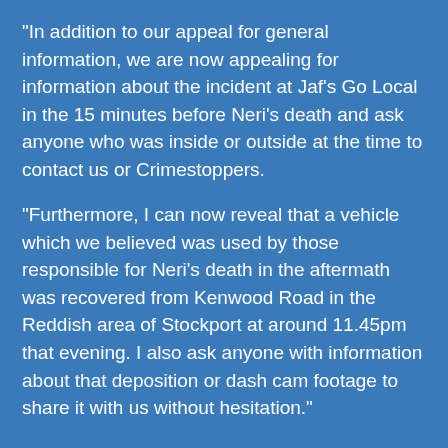"In addition to our appeal for general information, we are now appealing for information about the incident at Jaf's Go Local in the 15 minutes before Neri's death and ask anyone who was inside or outside at the time to contact us or Crimestoppers.
"Furthermore, I can now reveal that a vehicle which we believed was used by those responsible for Neri's death in the aftermath was recovered from Kenwood Road in the Reddish area of Stockport at around 11.45pm that evening. I also ask anyone with information about that deposition or dash cam footage to share it with us without hesitation."
Contact Information
Information can be submitted via the Portal, please click below on ' Submit your information here'
If you would prefer to speak to the Police, please contact